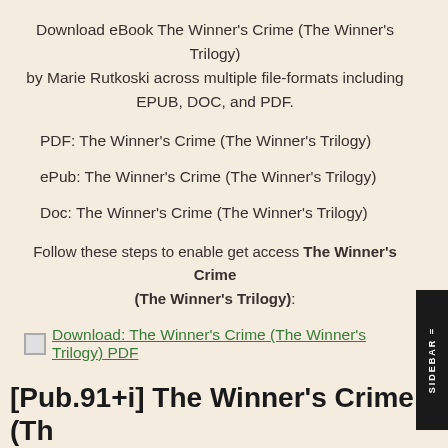Download eBook The Winner's Crime (The Winner's Trilogy) by Marie Rutkoski across multiple file-formats including EPUB, DOC, and PDF.
PDF: The Winner's Crime (The Winner's Trilogy)
ePub: The Winner's Crime (The Winner's Trilogy)
Doc: The Winner's Crime (The Winner's Trilogy)
Follow these steps to enable get access The Winner's Crime (The Winner's Trilogy):
[Figure (other): Download link image for The Winner's Crime (The Winner's Trilogy) PDF]
Download: The Winner's Crime (The Winner's Trilogy) PDF
[Pub.91+i] The Winner's Crime (Th